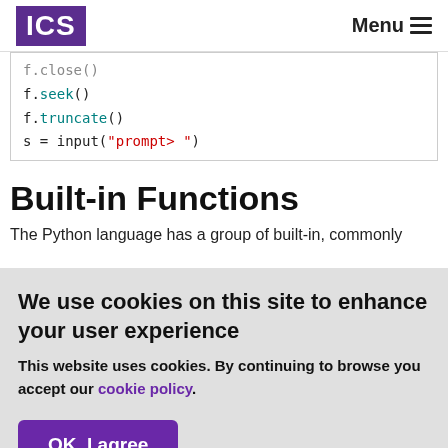ICS | Menu
[Figure (screenshot): Code block showing Python file methods: f.close() (grayed out/partially visible), f.seek(), f.truncate(), s = input("prompt> ")]
Built-in Functions
The Python language has a group of built-in, commonly
We use cookies on this site to enhance your user experience
This website uses cookies. By continuing to browse you accept our cookie policy.
OK, I agree